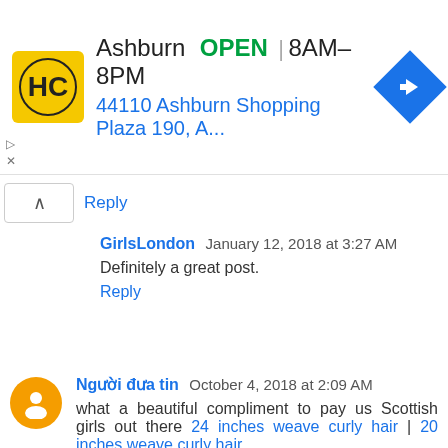[Figure (infographic): Ad banner for HC business in Ashburn showing logo, OPEN status, hours 8AM-8PM, address 44110 Ashburn Shopping Plaza 190 A..., and navigation arrow icon]
Reply
GirlsLondon January 12, 2018 at 3:27 AM
Definitely a great post.
Reply
Người đưa tin October 4, 2018 at 2:09 AM
what a beautiful compliment to pay us Scottish girls out there 24 inches weave curly hair | 20 inches weave curly hair
Reply
text twist unscramble October 24, 2018 at 4:19 AM